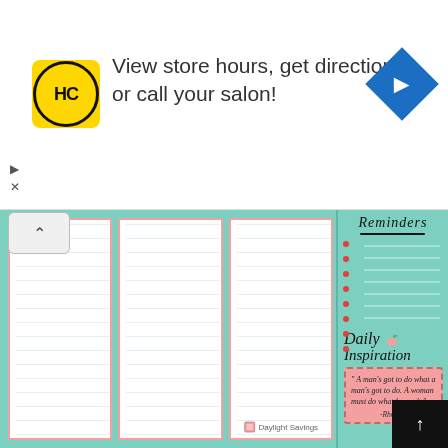[Figure (screenshot): Advertisement banner for a hair care salon chain (HC logo). Text reads: 'View store hours, get directions, or call your salon!' with a navigation icon.]
[Figure (illustration): Planner/notepad page layout with four columns of lined note paper and a teal 'Reminders' sidebar. The sidebar includes a 'Daily Inspiration' section with a quote: 'A man's got to do what a man's got to do. A woman must do what he can't.' attributed to Rhonda Hansome. A 'Daylight Savings' watermark appears at the bottom of one notepad column.]